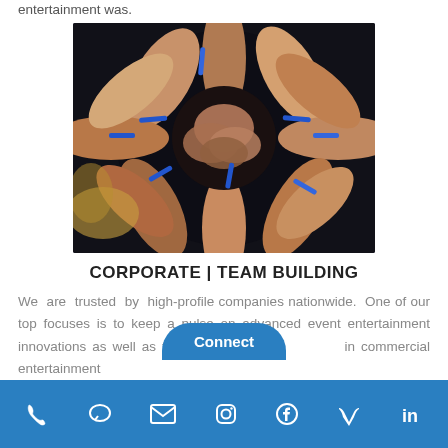entertainment was.
[Figure (photo): Overhead view of a group of people with arms and hands reaching into the center of a circle, wearing blue wristbands, forming a team huddle.]
CORPORATE | TEAM BUILDING
We are trusted by high-profile companies nationwide. One of our top focuses is to keep a pulse on advanced event entertainment innovations as well as the latest in commercial entertainment...
Connect | Phone | Chat | Email | Instagram | Facebook | Vimeo | LinkedIn